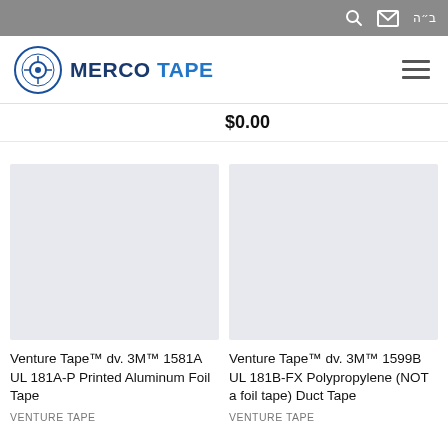MERCO TAPE
$0.00
[Figure (photo): Product image placeholder 1 - light gray rectangle]
Venture Tape™ dv. 3M™ 1581A UL 181A-P Printed Aluminum Foil Tape
VENTURE TAPE
[Figure (photo): Product image placeholder 2 - light gray rectangle]
Venture Tape™ dv. 3M™ 1599B UL 181B-FX Polypropylene (NOT a foil tape) Duct Tape
VENTURE TAPE